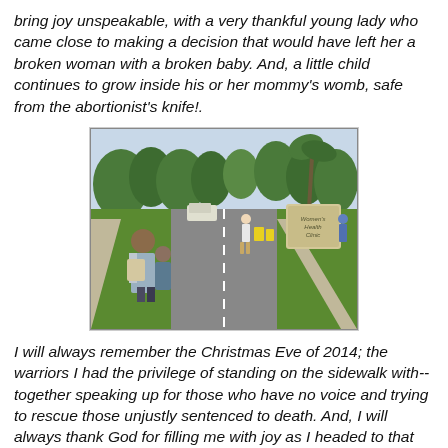bring joy unspeakable, with a very thankful young lady who came close to making a decision that would have left her a broken woman with a broken baby.  And, a little child continues to grow inside his or her mommy's womb, safe from the abortionist's knife!.
[Figure (photo): Outdoor photo showing people standing on a sidewalk near a road with trees and a sign in the background, possibly outside a medical clinic.]
I will always remember the Christmas Eve of 2014; the warriors I had the privilege of standing on the sidewalk with--together speaking up for those who have no voice and trying to rescue those unjustly sentenced to death.  And, I will always thank God for filling me with joy as I headed to that